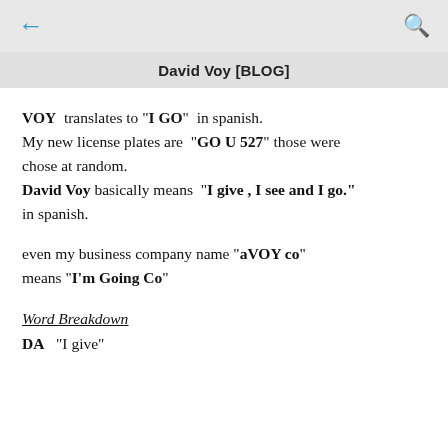David Voy [BLOG]
VOY  translates to "I GO"  in spanish.
My new license plates are  "GO U 527"  those were chose at random.
David Voy basically means  "I give , I see and I go."  in spanish.
even my business company name "aVOY co" means "I'm Going Co"
Word Breakdown
DA   "I give"